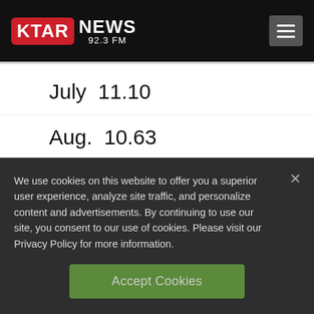KTAR NEWS 92.3 FM
July  11.10
Aug.  10.63
Sept.  10.44
We use cookies on this website to offer you a superior user experience, analyze site traffic, and personalize content and advertisements. By continuing to use our site, you consent to our use of cookies. Please visit our Privacy Policy for more information.
Accept Cookies